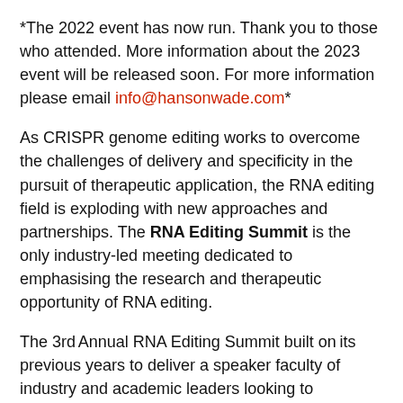*The 2022 event has now run. Thank you to those who attended. More information about the 2023 event will be released soon. For more information please email info@hansonwade.com*
As CRISPR genome editing works to overcome the challenges of delivery and specificity in the pursuit of therapeutic application, the RNA editing field is exploding with new approaches and partnerships. The RNA Editing Summit is the only industry-led meeting dedicated to emphasising the research and therapeutic opportunity of RNA editing.
The 3rd Annual RNA Editing Summit built on its previous years to deliver a speaker faculty of industry and academic leaders looking to accelerate the translation and commercialisation of RNA editing for an array of research and therapeutic applications.
The conference focused specifically on the latest